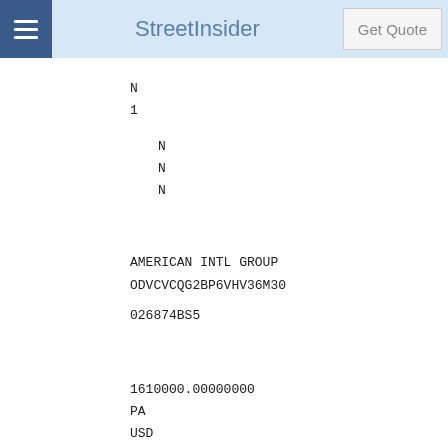StreetInsider
N
1
N
N
N
AMERICAN INTL GROUP
ODVCVCQG2BP6VHV36M30
026874BS5
1610000.00000000
PA
USD